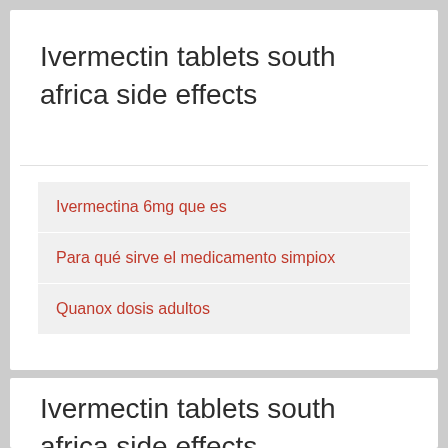Ivermectin tablets south africa side effects
Ivermectina 6mg que es
Para qué sirve el medicamento simpiox
Quanox dosis adultos
Ivermectin tablets south africa side effects